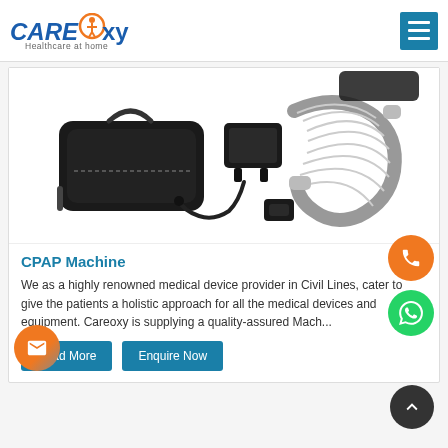CareOxy - Healthcare at home
[Figure (photo): CPAP machine accessories laid out on white background: black carry bag, power adapter, power cable, grey corrugated air hose with connectors, and a small black mask piece]
CPAP Machine
We as a highly renowned medical device provider in Civil Lines, cater to give the patients a holistic approach for all the medical devices and equipment. Careoxy is supplying a quality-assured Mach...
Read More
Enquire Now